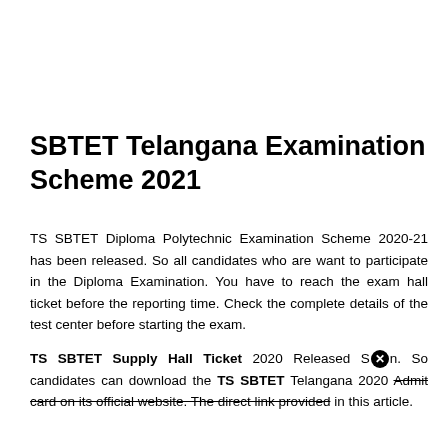SBTET Telangana Examination Scheme 2021
TS SBTET Diploma Polytechnic Examination Scheme 2020-21 has been released. So all candidates who are want to participate in the Diploma Examination. You have to reach the exam hall ticket before the reporting time. Check the complete details of the test center before starting the exam.
TS SBTET Supply Hall Ticket 2020 Released S[X]n. So candidates can download the TS SBTET Telangana 2020 Admit card on its official website. The direct link provided in this article.